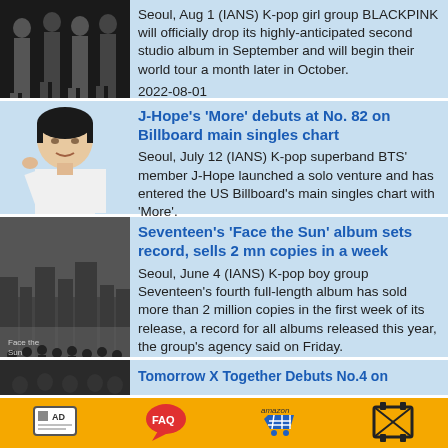Seoul, Aug 1 (IANS) K-pop girl group BLACKPINK will officially drop its highly-anticipated second studio album in September and will begin their world tour a month later in October.
2022-08-01
J-Hope's 'More' debuts at No. 82 on Billboard main singles chart
Seoul, July 12 (IANS) K-pop superband BTS' member J-Hope launched a solo venture and has entered the US Billboard's main singles chart with 'More'.
2022-07-12
Seventeen's 'Face the Sun' album sets record, sells 2 mn copies in a week
Seoul, June 4 (IANS) K-pop boy group Seventeen's fourth full-length album has sold more than 2 million copies in the first week of its release, a record for all albums released this year, the group's agency said on Friday.
2022-06-04
Tomorrow X Together Debuts No.4 on
[Figure (other): Advertisement bar with icons: AD icon, FAQ chat bubble, Amazon shopping cart, and a camera/film icon]